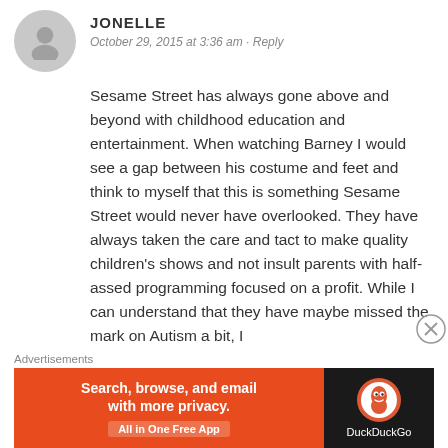JONELLE
October 29, 2015 at 3:36 am · Reply
Sesame Street has always gone above and beyond with childhood education and entertainment. When watching Barney I would see a gap between his costume and feet and think to myself that this is something Sesame Street would never have overlooked. They have always taken the care and tact to make quality children's shows and not insult parents with half-assed programming focused on a profit. While I can understand that they have maybe missed the mark on Autism a bit, I
Advertisements
[Figure (screenshot): DuckDuckGo advertisement banner: orange left section with text 'Search, browse, and email with more privacy. All in One Free App' and dark right section with DuckDuckGo logo and brand name.]